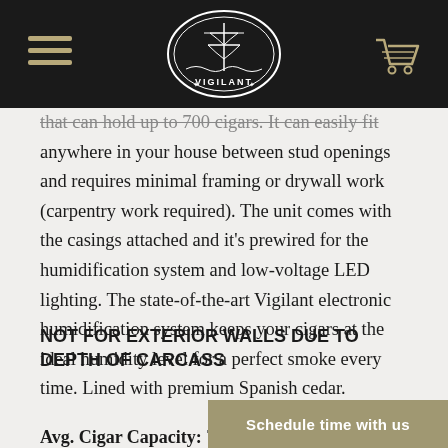Vigilant (logo, navigation header)
that can hold up to 700 cigars. It can easily fit anywhere in your house between stud openings and requires minimal framing or drywall work (carpentry work required). The unit comes with the casings attached and it's prewired for the humidification system and low-voltage LED lighting. The state-of-the-art Vigilant electronic humidification system keeps your cigars at the ideal humidity level for a perfect smoke every time. Lined with premium Spanish cedar.
NOT FOR EXTERIOR WALLS DUE TO DEPTH OF CARCASS
Avg. Cigar Capacity: 700-750 (Approximately 25